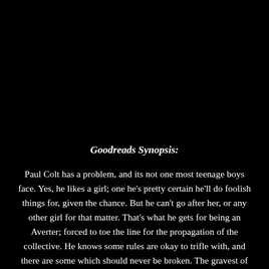Goodreads Synopsis:
Paul Colt has a problem, and its not one most teenage boys face. Yes, he likes a girl; one he's pretty certain he'll do foolish things for, given the chance. But he can't go after her, or any other girl for that matter. That's what he gets for being an Averter; forced to toe the line for the propagation of the collective. He knows some rules are okay to trifle with, and there are some which should never be broken. The gravest of them all?